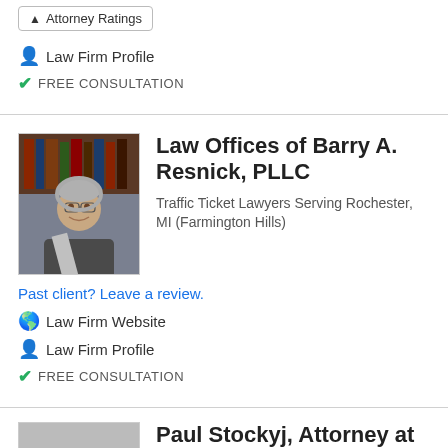Attorney Ratings (tab button)
Law Firm Profile
FREE CONSULTATION
Law Offices of Barry A. Resnick, PLLC
Traffic Ticket Lawyers Serving Rochester, MI (Farmington Hills)
Past client? Leave a review.
Law Firm Website
Law Firm Profile
FREE CONSULTATION
Paul Stockyj, Attorney at Law